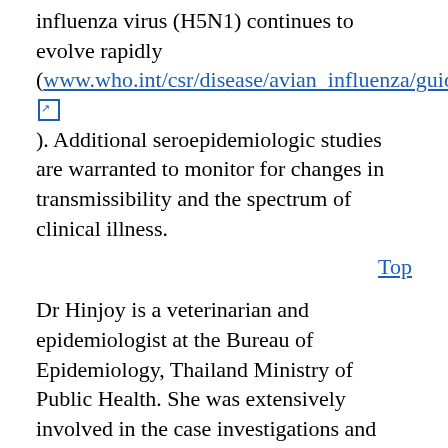influenza virus (H5N1) continues to evolve rapidly (www.who.int/csr/disease/avian_influenza/guidelines/r [external link]). Additional seroepidemiologic studies are warranted to monitor for changes in transmissibility and the spectrum of clinical illness.
Top
Dr Hinjoy is a veterinarian and epidemiologist at the Bureau of Epidemiology, Thailand Ministry of Public Health. She was extensively involved in the case investigations and control efforts for avian influenza outbreaks in Thailand during 2004–2006.
Top
Acknowledgments